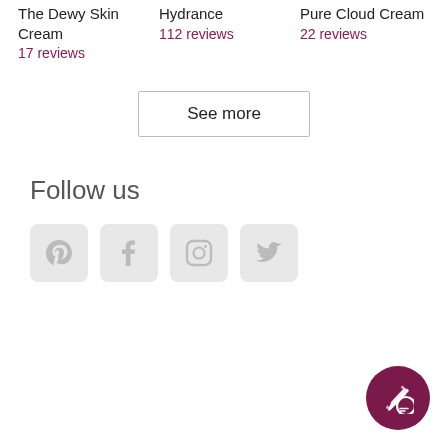The Dewy Skin Cream
17 reviews
Hydrance
112 reviews
Pure Cloud Cream
22 reviews
See more
Follow us
[Figure (other): Social media icons: Pinterest, Facebook, Instagram, Twitter]
[Figure (other): Floating action button with edit/write icon]